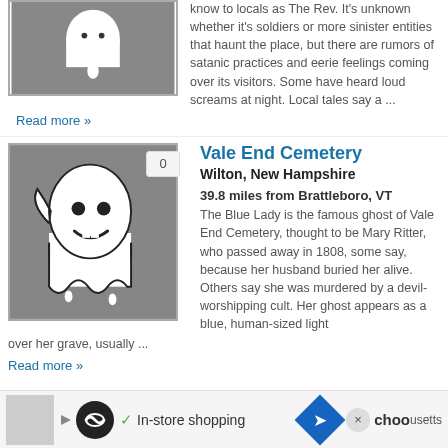[Figure (illustration): Ghost icon illustration on grey background (top, partially visible)]
know to locals as The Rev. It's unknown whether it's soldiers or more sinister entities that haunt the place, but there are rumors of satanic practices and eerie feelings coming over its visitors. Some have heard loud screams at night. Local tales say a ...
Read more »
[Figure (illustration): White cartoon ghost with smile on grey background, badge showing 0]
Vale End Cemetery
Wilton, New Hampshire
39.8 miles from Brattleboro, VT
The Blue Lady is the famous ghost of Vale End Cemetery, thought to be Mary Ritter, who passed away in 1808, some say, because her husband buried her alive. Others say she was murdered by a devil-worshipping cult. Her ghost appears as a blue, human-sized light over her grave, usually ...
Read more »
[Figure (screenshot): Advertisement bar at bottom: In-store shopping with navigation icon]